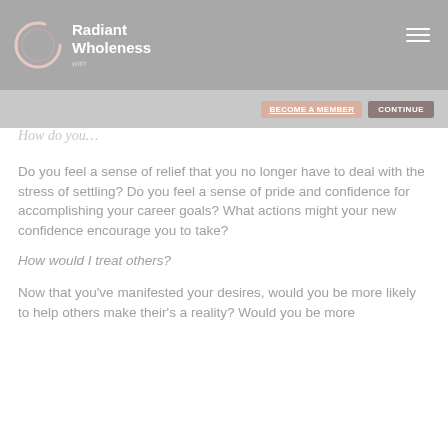[Figure (logo): Radiant Wholeness logo with circular graphic and text on grey header bar]
How do you…
Do you feel a sense of relief that you no longer have to deal with the stress of settling? Do you feel a sense of pride and confidence for accomplishing your career goals? What actions might your new confidence encourage you to take?
How would I treat others?
Now that you've manifested your desires, would you be more likely to help others make their's a reality? Would you be more …